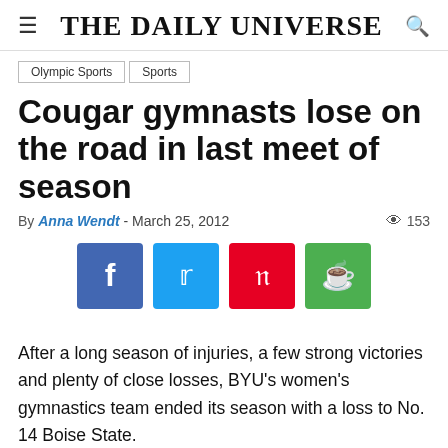The Daily Universe
Olympic Sports
Sports
Cougar gymnasts lose on the road in last meet of season
By Anna Wendt - March 25, 2012  153
[Figure (infographic): Social sharing buttons: Facebook, Twitter, Pinterest, WhatsApp]
After a long season of injuries, a few strong victories and plenty of close losses, BYU's women's gymnastics team ended its season with a loss to No. 14 Boise State.
Boise State defeated BYU 196.200-194.300 on Friday in Boise. It was the second time this season Boise State